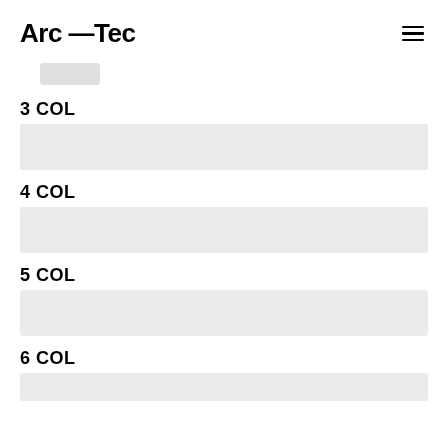Arc —Tec
[Figure (other): Small gray rounded rectangle placeholder button]
3 COL
[Figure (other): Light gray full-width rectangular placeholder block for 3 column layout]
4 COL
[Figure (other): Light gray full-width rectangular placeholder block for 4 column layout]
5 COL
[Figure (other): Light gray full-width rectangular placeholder block for 5 column layout]
6 COL
[Figure (other): Light gray full-width rectangular placeholder block for 6 column layout (partially visible)]